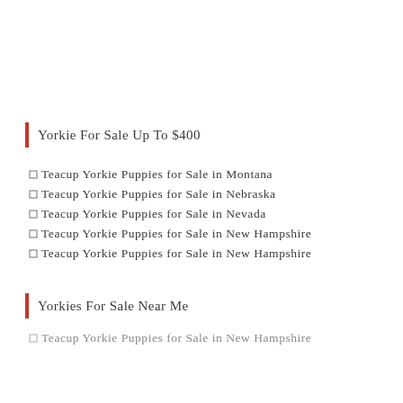Yorkie For Sale Up To $400
Teacup Yorkie Puppies for Sale in Montana
Teacup Yorkie Puppies for Sale in Nebraska
Teacup Yorkie Puppies for Sale in Nevada
Teacup Yorkie Puppies for Sale in New Hampshire
Teacup Yorkie Puppies for Sale in New Hampshire
Yorkies For Sale Near Me
Teacup Yorkie Puppies for Sale in New Hampshire